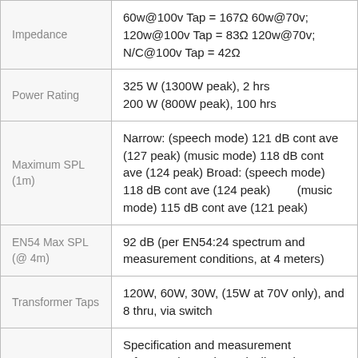| Parameter | Value |
| --- | --- |
| Impedance | 60w@100v Tap = 167Ω 60w@70v; 120w@100v Tap = 83Ω 120w@70v; N/C@100v Tap = 42Ω |
| Power Rating | 325 W (1300W peak), 2 hrs
200 W (800W peak), 100 hrs |
| Maximum SPL (1m) | Narrow: (speech mode) 121 dB cont ave (127 peak) (music mode) 118 dB cont ave (124 peak) Broad: (speech mode) 118 dB cont ave (124 peak) (music mode) 115 dB cont ave (121 peak) |
| EN54 Max SPL (@ 4m) | 92 dB (per EN54:24 spectrum and measurement conditions, at 4 meters) |
| Transformer Taps | 120W, 60W, 30W, (15W at 70V only), and 8 thru, via switch |
| Reference Axis | Specification and measurement referenced on-axis vertically and horizontally to the center point of the speaker baffle. |
|  | Fiberglass reinforced ABS cabinet with |